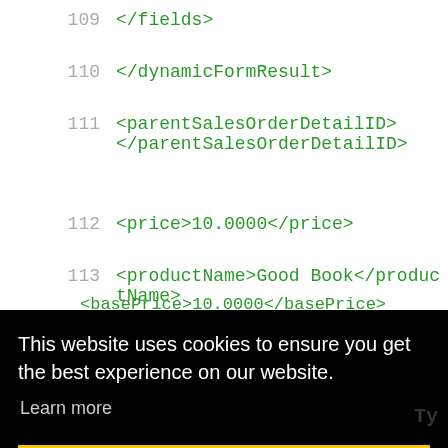109    </fields>
110    </dynamicFormResult>
111    <parentSalesOrderDetailID> </parentSalesOrderDetailID>
112    <price>10.0000</price>
113    <productName>Good Book</productName>
114    <productVariant>
115
<basePrice>10.0000</basePrice>
This website uses cookies to ensure you get the best experience on our website.
Learn more
Got it!